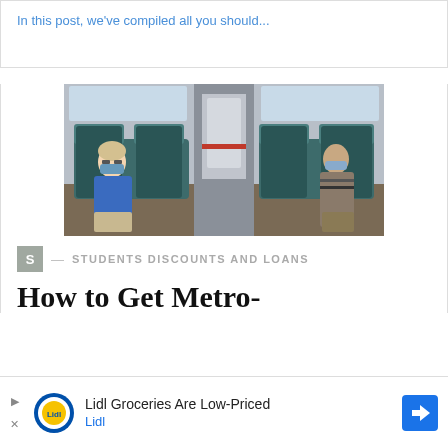In this post, we've compiled all you should...
[Figure (photo): Two people wearing face masks sitting on opposite sides of a train interior with teal/blue seats]
S — STUDENTS DISCOUNTS AND LOANS
How to Get Metro-
[Figure (other): Advertisement: Lidl Groceries Are Low-Priced - Lidl]